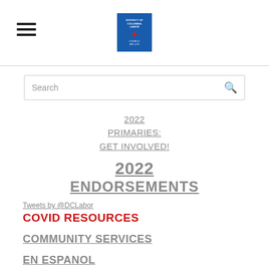[Figure (logo): Hamburger menu icon (three horizontal lines) and organization logo (blue square with red graphic and white text)]
[Figure (other): Search bar with placeholder text 'Search' and a magnifying glass icon]
2022 PRIMARIES: GET INVOLVED!
2022 ENDORSEMENTS
Tweets by @DCLabor
COVID RESOURCES
COMMUNITY SERVICES
EN ESPANOL